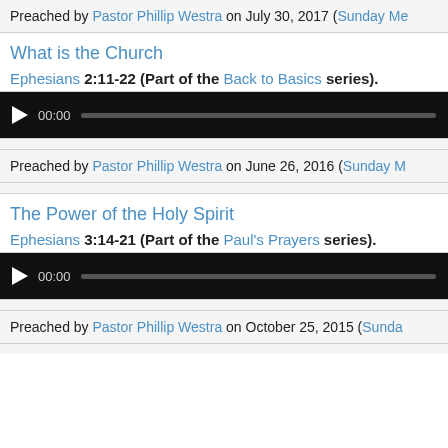Preached by Pastor Phillip Westra on July 30, 2017 (Sunday Mo...
What is the Church
Ephesians 2:11-22 (Part of the Back to Basics series).
[Figure (other): Audio player with play button, 00:00 timestamp, and progress bar]
Preached by Pastor Phillip Westra on June 26, 2016 (Sunday M...
The Power of the Holy Spirit
Ephesians 3:14-21 (Part of the Paul's Prayers series).
[Figure (other): Audio player with play button, 00:00 timestamp, and progress bar]
Preached by Pastor Phillip Westra on October 25, 2015 (Sunda...